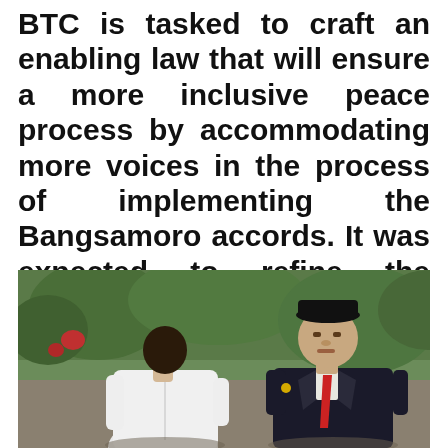BTC is tasked to craft an enabling law that will ensure a more inclusive peace process by accommodating more voices in the process of implementing the Bangsamoro accords. It was expected to refine the proposed Bangsamoro Basic Law (BBL) which is pending in Congress.
[Figure (photo): Two men in conversation: one wearing a white shirt (left, facing away) and another wearing a black traditional cap and dark suit with red tie (right, facing camera), with green foliage in the background.]